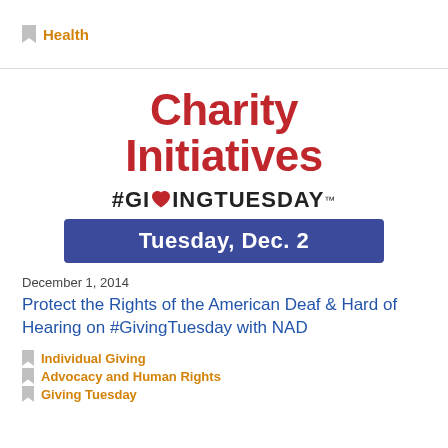Health
[Figure (logo): Charity Initiatives #GivingTuesday Tuesday, Dec. 2 logo/banner image]
December 1, 2014
Protect the Rights of the American Deaf & Hard of Hearing on #GivingTuesday with NAD
Individual Giving
Advocacy and Human Rights
Giving Tuesday